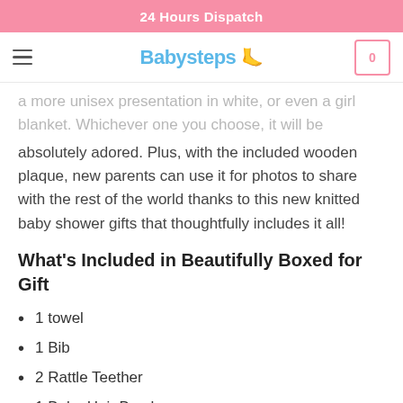24 Hours Dispatch
a more unisex presentation in white, or even a girl blanket. Whichever one you choose, it will be
absolutely adored. Plus, with the included wooden plaque, new parents can use it for photos to share with the rest of the world thanks to this new knitted baby shower gifts that thoughtfully includes it all!
What’s Included in Beautifully Boxed for Gift
1 towel
1 Bib
2 Rattle Teether
1 Baby Hair Brush